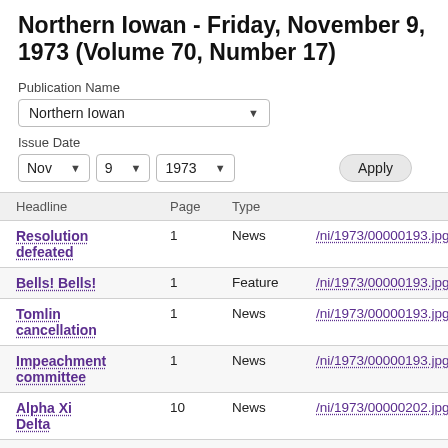Northern Iowan - Friday, November 9, 1973 (Volume 70, Number 17)
Publication Name
Northern Iowan
Issue Date
Nov  9  1973  Apply
| Headline | Page | Type |  |
| --- | --- | --- | --- |
| Resolution defeated | 1 | News | /ni/1973/00000193.jpg |
| Bells! Bells! | 1 | Feature | /ni/1973/00000193.jpg |
| Tomlin cancellation | 1 | News | /ni/1973/00000193.jpg |
| Impeachment committee | 1 | News | /ni/1973/00000193.jpg |
| Alpha Xi Delta | 10 | News | /ni/1973/00000202.jpg |
| Impeachment | 10 | News | /ni/1973/00000202.jpg |